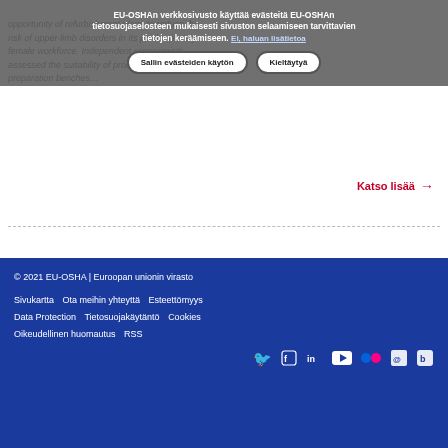opportunity of refurbishment plans to reduce the risk of upper-limb disorders in its predominately female workforce. Independent ergonomists assessed the suitability of product and food preparation benches...
EU-OSHAn verkkosivusto käyttää evästeitä EU-OSHAn tietosuojaselosteen mukaisesti sivuston selaamiseen tarvittavien tietojen keräämiseen. Ei, haluan lisätietoa
Katso lisää →
© 2021 EU-OSHA | Euroopan unionin virasto
Sivukartta   Ota meihin yhteyttä   Esteettömyys
Data Protection   Tietosuojakäytäntö   Cookies
Oikeudellinen huomautus   RSS